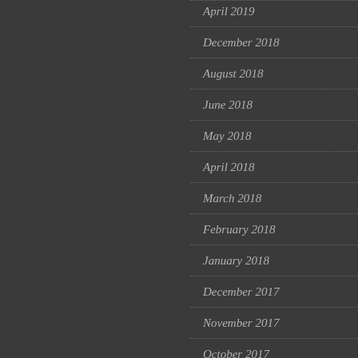April 2019
December 2018
August 2018
June 2018
May 2018
April 2018
March 2018
February 2018
January 2018
December 2017
November 2017
October 2017